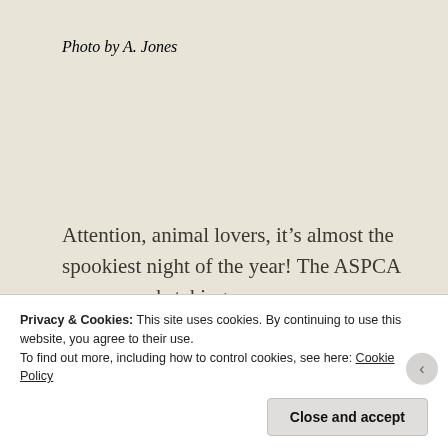Photo by A. Jones
Attention, animal lovers, it’s almost the spookiest night of the year! The ASPCA recommends taking some common sense precautions this Halloween to keep you and your pet saying “trick or treat!” all the way to November 1.
Privacy & Cookies: This site uses cookies. By continuing to use this website, you agree to their use.
To find out more, including how to control cookies, see here: Cookie Policy
Close and accept